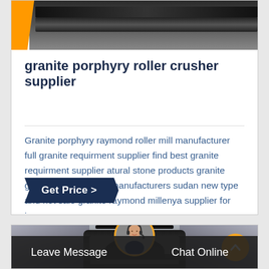[Figure (photo): Close-up of industrial crushing/roller machine with orange and dark metal parts]
granite porphyry roller crusher supplier
Granite porphyry raymond roller mill manufacturer full granite requirment supplier find best granite requirment supplier atural stone products granite granite raymond mill manufacturers sudan new type and hot sale granite raymond millenya supplier for jaw…
Get Price >
[Figure (photo): Industrial stone crusher or mill machine in outdoor industrial setting, large dark cylindrical machine with structures in background]
Leave Message
Chat Online